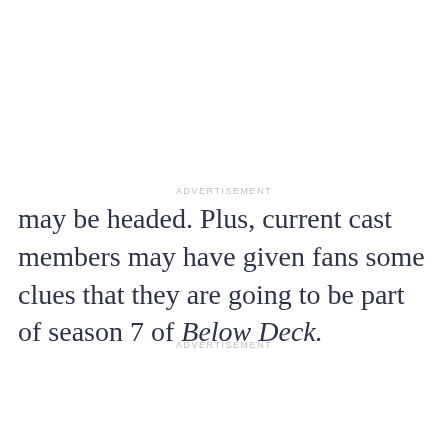ADVERTISEMENT
may be headed. Plus, current cast members may have given fans some clues that they are going to be part of season 7 of Below Deck.
ADVERTISEMENT